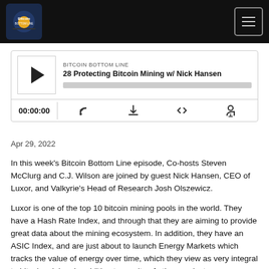Bitcoin Mining Bitcoin Bottom Line podcast header
[Figure (screenshot): Podcast audio player widget showing episode '28 Protecting Bitcoin Mining w/ Nick Hansen' from Bitcoin Bottom Line, with play button, progress bar, time display 00:00:00 and playback controls]
Apr 29, 2022
In this week's Bitcoin Bottom Line episode, Co-hosts Steven McClurg and C.J. Wilson are joined by guest Nick Hansen, CEO of Luxor, and Valkyrie's Head of Research Josh Olszewicz.
Luxor is one of the top 10 bitcoin mining pools in the world. They have a Hash Rate Index, and through that they are aiming to provide great data about the mining ecosystem. In addition, they have an ASIC Index, and are just about to launch Energy Markets which tracks the value of energy over time, which they view as very integral to bitcoin mining. In addition to a suite of other products.